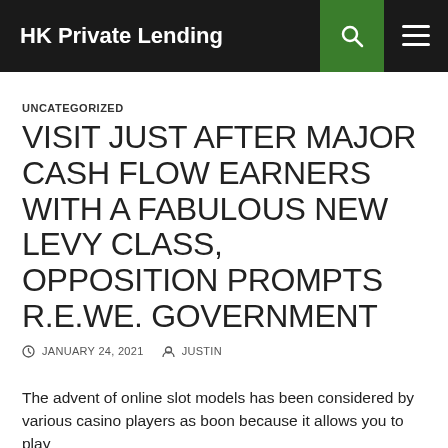HK Private Lending
UNCATEGORIZED
VISIT JUST AFTER MAJOR CASH FLOW EARNERS WITH A FABULOUS NEW LEVY CLASS, OPPOSITION PROMPTS R.E.WE. GOVERNMENT
JANUARY 24, 2021   JUSTIN
The advent of online slot models has been considered by various casino players as boon because it allows you to play